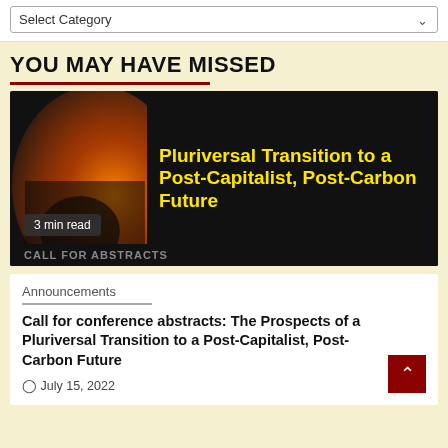Select Category
YOU MAY HAVE MISSED
[Figure (illustration): Article thumbnail showing a dark background with bright orange glow on the left side and bold yellow text reading 'Pluriversal Transition to a Post-Capitalist, Post-Carbon Future' on the right. A badge reads '3 min read'. Bottom strip partially shows text.]
Announcements
Call for conference abstracts: The Prospects of a Pluriversal Transition to a Post-Capitalist, Post-Carbon Future
July 15, 2022